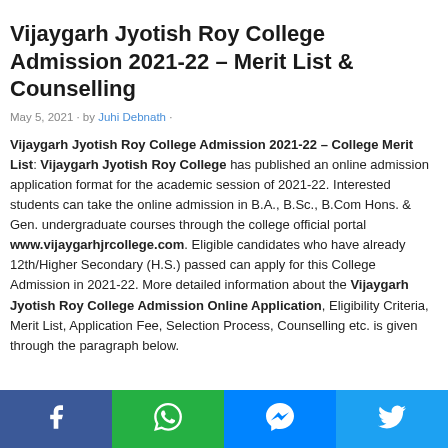Vijaygarh Jyotish Roy College Admission 2021-22 – Merit List & Counselling
May 5, 2021 · by Juhi Debnath ·
Vijaygarh Jyotish Roy College Admission 2021-22 – College Merit List: Vijaygarh Jyotish Roy College has published an online admission application format for the academic session of 2021-22. Interested students can take the online admission in B.A., B.Sc., B.Com Hons. & Gen. undergraduate courses through the college official portal www.vijaygarhjrcollege.com. Eligible candidates who have already 12th/Higher Secondary (H.S.) passed can apply for this College Admission in 2021-22. More detailed information about the Vijaygarh Jyotish Roy College Admission Online Application, Eligibility Criteria, Merit List, Application Fee, Selection Process, Counselling etc. is given through the paragraph below.
[Figure (infographic): Social media share bar with Facebook, WhatsApp, Messenger, and Twitter icons on colored backgrounds (dark blue, green, blue, light blue)]